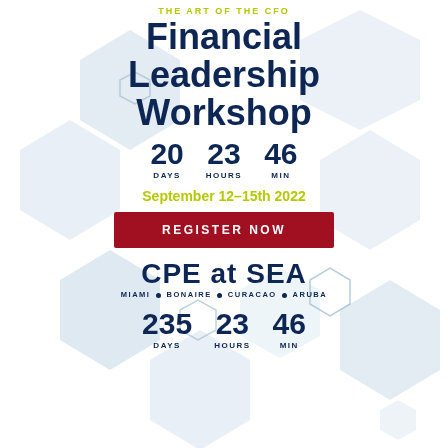THE ART OF THE CFO
Financial Leadership Workshop
20 DAYS  23 HOURS  46 MIN
September 12–15th 2022
REGISTER NOW
[Figure (logo): CPE at SEA logo with subtitle MIAMI • BONAIRE • CURACAO • ARUBA]
235 DAYS  23 HOURS  46 MIN